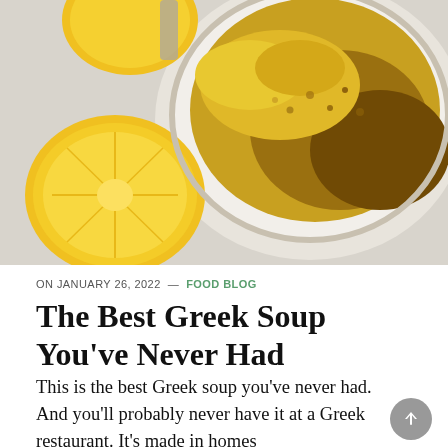[Figure (photo): Overhead photo of a white bowl of Greek soup with yellow broth and lentils, alongside halved lemons on a white surface]
ON JANUARY 26, 2022 — FOOD BLOG
The Best Greek Soup You've Never Had
This is the best Greek soup you've never had.  And you'll probably never have it at a Greek restaurant. It's made in homes